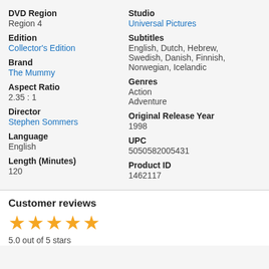DVD Region
Region 4
Edition
Collector's Edition
Brand
The Mummy
Aspect Ratio
2.35 : 1
Director
Stephen Sommers
Language
English
Length (Minutes)
120
Studio
Universal Pictures
Subtitles
English, Dutch, Hebrew, Swedish, Danish, Finnish, Norwegian, Icelandic
Genres
Action
Adventure
Original Release Year
1998
UPC
5050582005431
Product ID
1462117
Customer reviews
5.0 out of 5 stars